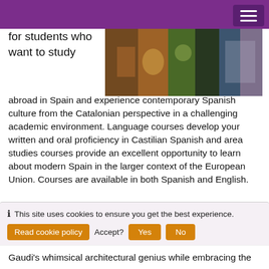[Figure (photo): Photo collage of Barcelona scenes including street art, birds, and architecture]
for students who want to study abroad in Spain and experience contemporary Spanish culture from the Catalonian perspective in a challenging academic environment. Language courses develop your written and oral proficiency in Castilian Spanish and area studies courses provide an excellent opportunity to learn about modern Spain in the larger context of the European Union. Courses are available in both Spanish and English.
Visit www.IESabroad.org for complete program details.
NOTE: Program dates listed in Studio Abroad are approximate. Please refer to IES Abroad predeparture materials for planning travel.
Why Barcelona?
This site uses cookies to ensure you get the best experience.
Gaudi's whimsical architectural genius while embracing the